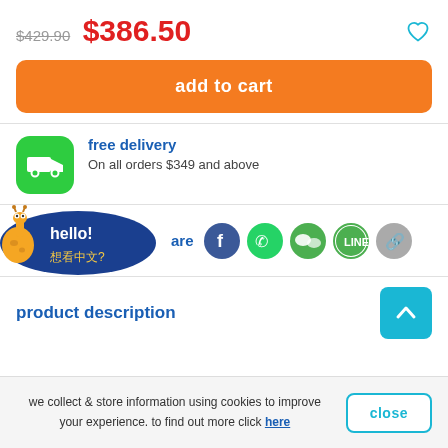$429.90  $386.50
[Figure (illustration): add to cart orange button]
[Figure (illustration): Green rounded square icon with white delivery truck]
free delivery
On all orders $349 and above
[Figure (illustration): Giraffe hello bubble with Chinese text 想看中文?]
share
[Figure (illustration): Social share icons: Facebook, WhatsApp, WeChat, LINE, link]
product description
[Figure (illustration): Teal scroll-to-top button with up arrow]
we collect & store information using cookies to improve your experience. to find out more click here
close